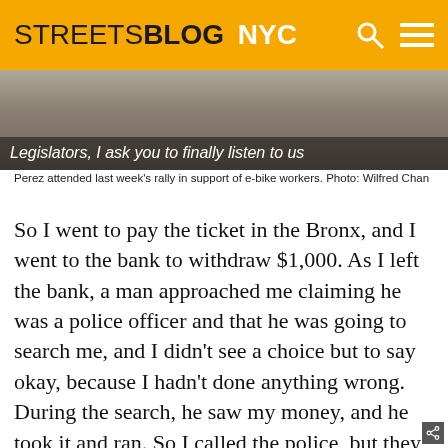STREETSBLOG NYC
[Figure (photo): Photo of people's legs and feet at a rally, with text overlay: 'Legislators, I ask you to finally listen to us']
Perez attended last week's rally in support of e-bike workers. Photo: Wilfred Chan
So I went to pay the ticket in the Bronx, and I went to the bank to withdraw $1,000. As I left the bank, a man approached me claiming he was a police officer and that he was going to search me, and I didn't see a choice but to say okay, because I hadn't done anything wrong. During the search, he saw my money, and he took it and ran. So I called the police, but they didn't do anything. I had to wait for the court date, so I had to buy another bike, and the price was very high — $1,700 — but I had no other option but to buy it, since I had to keep working. They did